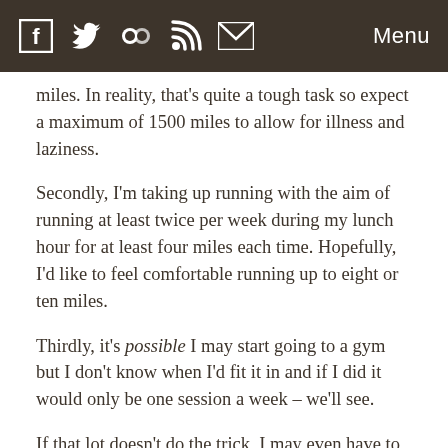[Social icons: Facebook, Twitter, Flickr, RSS, Email] Menu
miles. In reality, that's quite a tough task so expect a maximum of 1500 miles to allow for illness and laziness.
Secondly, I'm taking up running with the aim of running at least twice per week during my lunch hour for at least four miles each time. Hopefully, I'd like to feel comfortable running up to eight or ten miles.
Thirdly, it's possible I may start going to a gym but I don't know when I'd fit it in and if I did it would only be one session a week – we'll see.
If that lot doesn't do the trick, I may even have to cut back on my eating. But that's a last resort!
I wonder if my fellow moles have any similar plans?